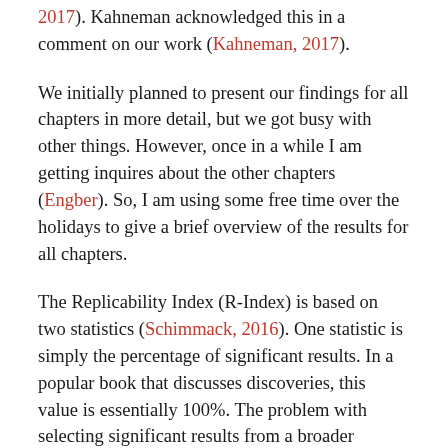2017). Kahneman acknowledged this in a comment on our work (Kahneman, 2017).
We initially planned to present our findings for all chapters in more detail, but we got busy with other things. However, once in a while I am getting inquires about the other chapters (Engber). So, I am using some free time over the holidays to give a brief overview of the results for all chapters.
The Replicability Index (R-Index) is based on two statistics (Schimmack, 2016). One statistic is simply the percentage of significant results. In a popular book that discusses discoveries, this value is essentially 100%. The problem with selecting significant results from a broader literature is that significance alone, p < .05, does not provide sufficient information about true versus false discoveries. It also does not tell us how replicable a result is. Information about replicability can be obtained by converting the exact